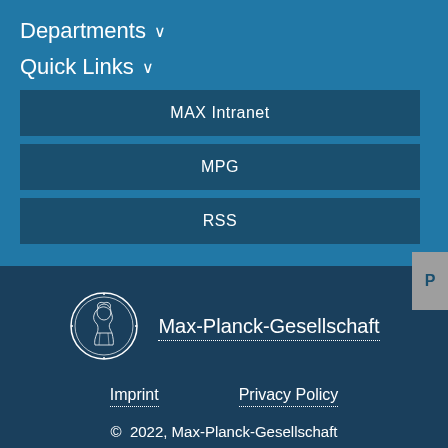Departments ∨
Quick Links ∨
MAX Intranet
MPG
RSS
[Figure (logo): Max-Planck-Gesellschaft circular coin logo with Minerva profile]
Max-Planck-Gesellschaft
Imprint
Privacy Policy
© 2022, Max-Planck-Gesellschaft